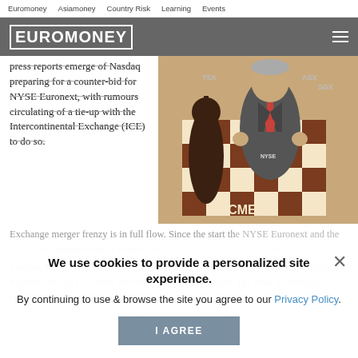Euromoney | Asiamoney | Country Risk | Learning | Events
EUROMONEY
press reports emerge of Nasdaq preparing for a counter-bid for NYSE Euronext, with rumours circulating of a tie-up with the Intercontinental Exchange (ICE) to do so.
[Figure (illustration): Illustrated chess board scene with chess pieces labeled CME, NYSE, TSX, ASX, SGX, featuring a cartoon businessman figure in a suit with red tie standing amid chess pieces on a brown and cream checkered board.]
Exchange merger frenzy is in full flow. Since the start the NYSE Euronext and the LSE have announced talks to join forces to create the world's largest Toronto Stock Exchange. Have announced plans to merge. US-based Bats Global Markets has bid for fellow private venue Chi-X Europe. The head of Vienna's exchange, the host of the talks said suggesting Europe would be better off with an exchange.
We use cookies to provide a personalized site experience.
By continuing to use & browse the site you agree to our Privacy Policy.
I AGREE